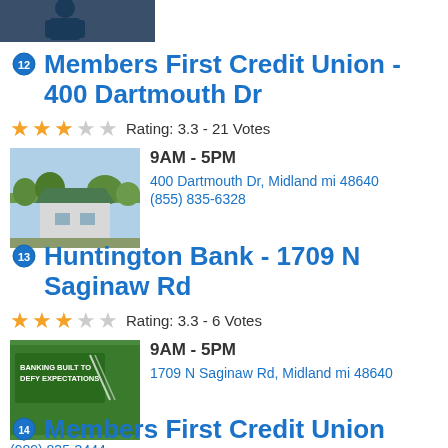[Figure (photo): Partial top image showing a person in a blue outfit against a dark background]
Members First Credit Union - 400 Dartmouth Dr
Rating: 3.3 - 21 Votes
[Figure (photo): Photo of a building with green roof and trees]
9AM - 5PM
400 Dartmouth Dr, Midland mi 48640
(855) 835-6328
Huntington Bank - 1709 N Saginaw Rd
Rating: 3.3 - 6 Votes
[Figure (photo): Huntington Bank sign: Banking Built to Defy Expectations]
9AM - 5PM
1709 N Saginaw Rd, Midland mi 48640
(989) 835-3444
Members First Credit Union (partial, cut off)